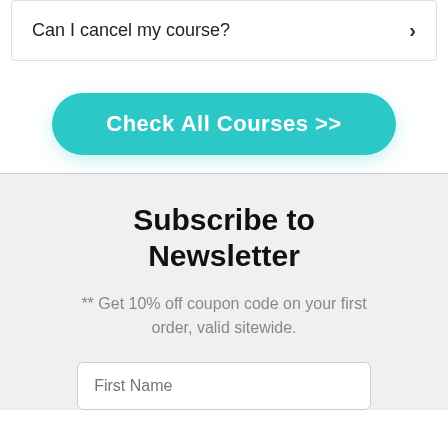Can I cancel my course?
Check All Courses >>
Subscribe to Newsletter
** Get 10% off coupon code on your first order, valid sitewide.
First Name